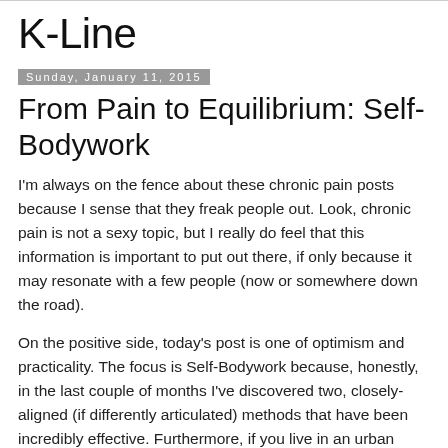K-Line
Sunday, January 11, 2015
From Pain to Equilibrium: Self-Bodywork
I'm always on the fence about these chronic pain posts because I sense that they freak people out. Look, chronic pain is not a sexy topic, but I really do feel that this information is important to put out there, if only because it may resonate with a few people (now or somewhere down the road).
On the positive side, today's post is one of optimism and practicality. The focus is Self-Bodywork because, honestly, in the last couple of months I've discovered two, closely-aligned (if differently articulated) methods that have been incredibly effective. Furthermore, if you live in an urban centre,